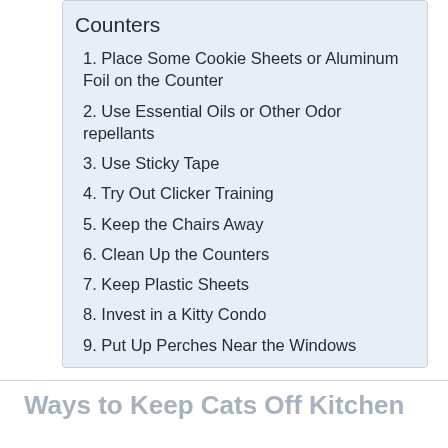Counters
1. Place Some Cookie Sheets or Aluminum Foil on the Counter
2. Use Essential Oils or Other Odor repellants
3. Use Sticky Tape
4. Try Out Clicker Training
5. Keep the Chairs Away
6. Clean Up the Counters
7. Keep Plastic Sheets
8. Invest in a Kitty Condo
9. Put Up Perches Near the Windows
Ways to Keep Cats Off Kitchen